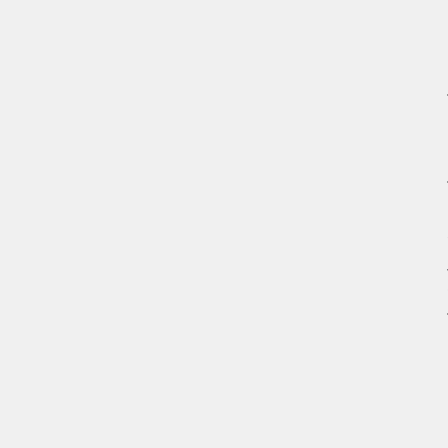of these programs are expensive for the certain subscriptions they offer. Some of these programs also can not possess a wide number of products. Do not fear though there are nevertheless a wide array of services visiting this blog that along with your moneys worth. Online marketers use them decide to head another route however. Couple of different methods websites present that feature free music but this is not only illegal but dangerous. snagit crack of these websites may have music files but inside these there are viruses which could hurt or perhaps break your pc upon regain. I would advise that you remain clear websites and stick with buying music.
As name indicate this particular provider trust in action. Actionvoip offer you cheap calls around turmoil. Its special facility rather unbelievable who's allow free PC to PC speaking to. For making cheapest